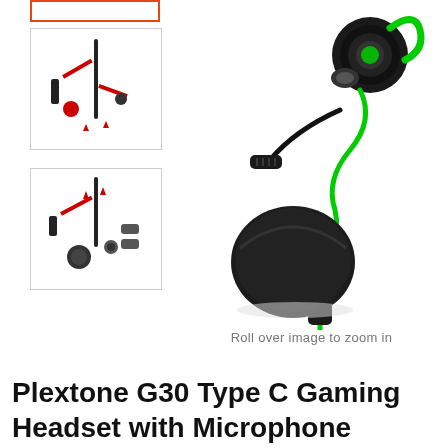[Figure (photo): Main product photo of Plextone G30 Type C Gaming Headset with Microphone — black and green in-ear headphones with detachable mic, inline control, and round carrying case on white background]
[Figure (photo): Thumbnail: Plextone G30 headset components laid out — red and black colorway]
[Figure (photo): Thumbnail: Plextone G30 headset components laid out — red and black colorway with accessories]
Roll over image to zoom in
Plextone G30 Type C Gaming Headset with Microphone